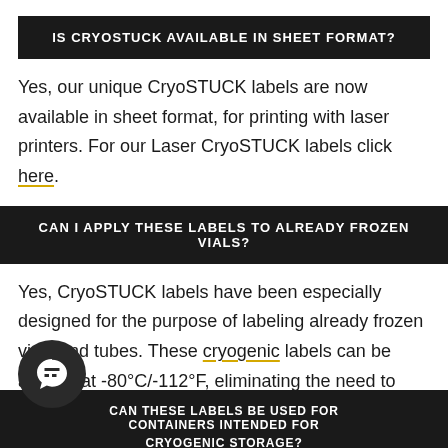IS CRYOSTUCK AVAILABLE IN SHEET FORMAT?
Yes, our unique CryoSTUCK labels are now available in sheet format, for printing with laser printers. For our Laser CryoSTUCK labels click here.
CAN I APPLY THESE LABELS TO ALREADY FROZEN VIALS?
Yes, CryoSTUCK labels have been especially designed for the purpose of labeling already frozen vials and tubes. These cryogenic labels can be applied at -80°C/-112°F, eliminating the need to thaw valuable samples.
CAN THESE LABELS BE USED FOR CONTAINERS INTENDED FOR CRYOGENIC STORAGE?